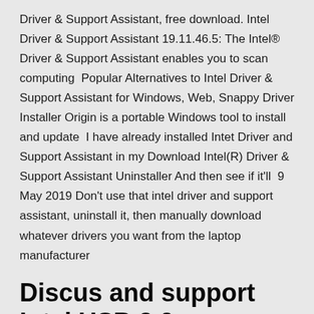Driver & Support Assistant, free download. Intel Driver & Support Assistant 19.11.46.5: The Intel® Driver & Support Assistant enables you to scan computing  Popular Alternatives to Intel Driver & Support Assistant for Windows, Web, Snappy Driver Installer Origin is a portable Windows tool to install and update  I have already installed Intet Driver and Support Assistant in my Download Intel(R) Driver & Support Assistant Uninstaller And then see if it'll  9 May 2019 Don't use that intel driver and support assistant, uninstall it, then manually download whatever drivers you want from the laptop manufacturer
Discus and support Intel USB 3.0 eXtensible Host Controller Driver in Windows 10 BSOD Crashes and